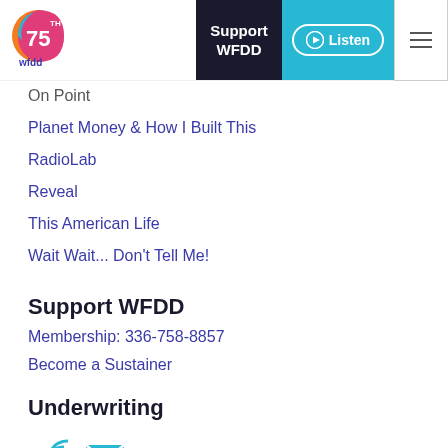WFDD 75th - Support WFDD | Listen | Menu
On Point
Planet Money & How I Built This
RadioLab
Reveal
This American Life
Wait Wait... Don't Tell Me!
Support WFDD
Membership: 336-758-8857
Become a Sustainer
Underwriting
[Figure (illustration): Phone and email icons in cyan/teal color]
News Tips
336-758-3083